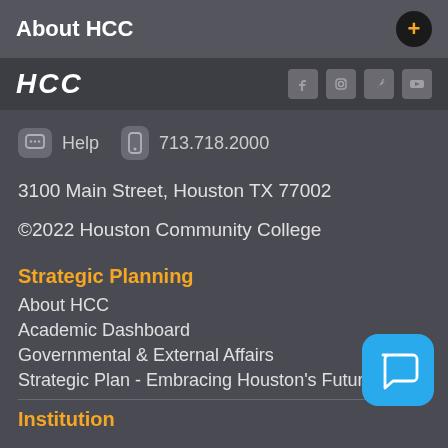About HCC
[Figure (logo): HCC logo in white italic bold lettering with social media icons (Facebook, Instagram, Twitter, YouTube) on dark background bar]
Help   713.718.2000
3100 Main Street, Houston TX 77002
©2022 Houston Community College
Strategic Planning
About HCC
Academic Dashboard
Governmental & External Affairs
Strategic Plan - Embracing Houston's Future
Institution